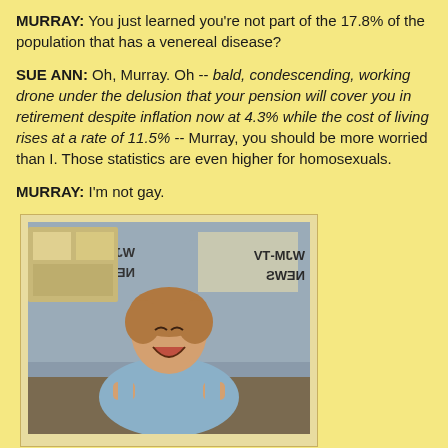MURRAY: You just learned you're not part of the 17.8% of the population that has a venereal disease?
SUE ANN: Oh, Murray. Oh -- bald, condescending, working drone under the delusion that your pension will cover you in retirement despite inflation now at 4.3% while the cost of living rises at a rate of 11.5% -- Murray, you should be more worried than I. Those statistics are even higher for homosexuals.
MURRAY: I'm not gay.
[Figure (photo): A woman with curly reddish-brown hair wearing a light blue top, laughing or cheering with raised fists, in what appears to be a newsroom set. A sign reading 'WJM-TV NEWS' is visible in the background (mirrored).]